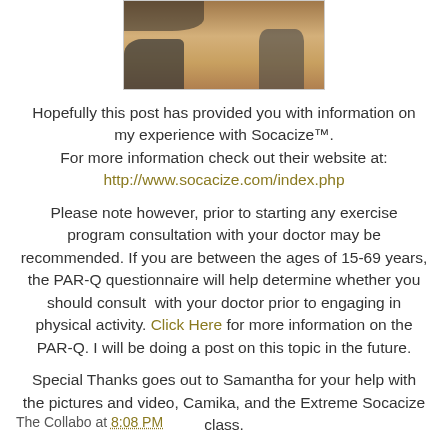[Figure (photo): Partial photo of people on a gym floor, showing feet and legs.]
Hopefully this post has provided you with information on my experience with Socacize™. For more information check out their website at: http://www.socacize.com/index.php
Please note however, prior to starting any exercise program consultation with your doctor may be recommended. If you are between the ages of 15-69 years, the PAR-Q questionnaire will help determine whether you should consult with your doctor prior to engaging in physical activity. Click Here for more information on the PAR-Q. I will be doing a post on this topic in the future.
Special Thanks goes out to Samantha for your help with the pictures and video, Camika, and the Extreme Socacize class.
The Collabo at 8:08 PM